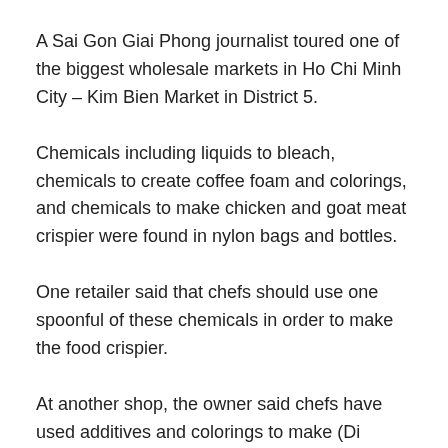A Sai Gon Giai Phong journalist toured one of the biggest wholesale markets in Ho Chi Minh City – Kim Bien Market in District 5.
Chemicals including liquids to bleach, chemicals to create coffee foam and colorings, and chemicals to make chicken and goat meat crispier were found in nylon bags and bottles.
One retailer said that chefs should use one spoonful of these chemicals in order to make the food crispier.
At another shop, the owner said chefs have used additives and colorings to make (Directly continues with the page end)